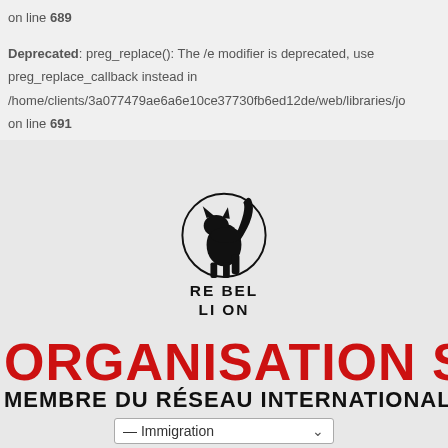on line 689
Deprecated: preg_replace(): The /e modifier is deprecated, use preg_replace_callback instead in /home/clients/3a077479ae6a6e10ce37730fb6ed12de/web/libraries/jo on line 691
[Figure (logo): Rebellion logo: a black arched cat inside a circle above the text RE BEL LI ON in bold caps]
ORGANISATION SOCIALE
MEMBRE DU RÉSEAU INTERNATIONAL AN
— Immigration